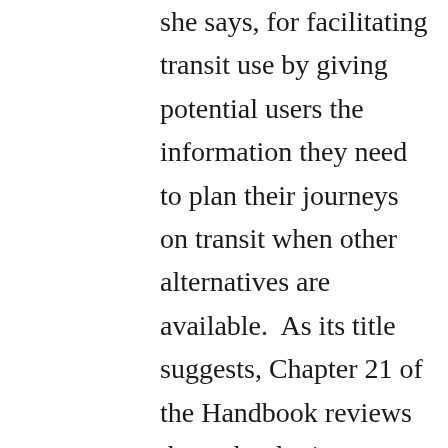she says, for facilitating transit use by giving potential users the information they need to plan their journeys on transit when other alternatives are available. As its title suggests, Chapter 21 of the Handbook reviews the technologies, standards and apps making data about transit more readily available for both customers and planners. Three advances are focal points: the opening up of GTFS, the widespread adoption of smartphones, and data standardisation. Together, this has led to the emergence of reusable smart-phone integrated